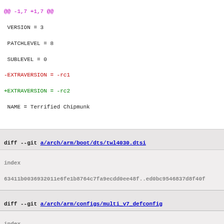@@ -1,7 +1,7 @@
 VERSION = 3
 PATCHLEVEL = 8
 SUBLEVEL = 0
-EXTRAVERSION = -rc1
+EXTRAVERSION = -rc2
 NAME = Terrified Chipmunk

 # *DOCUMENTATION*
diff --git a/arch/arm/boot/dts/twl4030.dtsi b/arch/arm/boot/dts/twl4030.dtsi
index
63411b036932011e6fe1b8764c7fa9ecdd0ee48f..ed0bc9546837d8f40f
100644 (file)
--- a/arch/arm/boot/dts/twl4030.dtsi
+++ b/arch/arm/boot/dts/twl4030.dtsi
@@ -19,6 +19,10 @@
         interrupts = <11>;
         };

+        watchdog {
+                compatible = "ti,twl4030-wdt";
+        };
+
        vdac: regulator-vdac {
                compatible = "ti,twl4030-vdac";
                regulator-min-microvolt = <1800000>;
diff --git a/arch/arm/configs/multi_v7_defconfig b/arch/arm/configs/multi_v7_defconfig
index